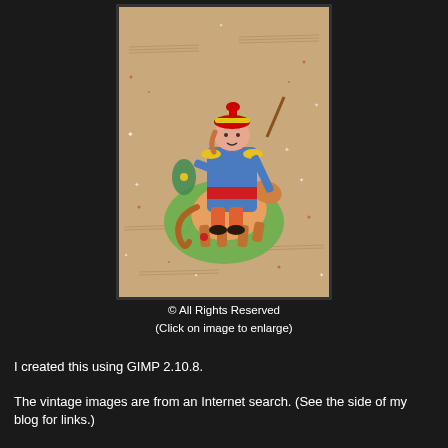[Figure (illustration): A colorful folk art painting of a warrior figure in blue and red clothing with a red hat riding or standing with a horse, set against a decorated parchment-like background with musical notation patterns, sparkle effects, and floral motifs. A watermark text appears diagonally across the image. Dated 2018.]
© All Rights Reserved
(Click on image to enlarge)
I created this using GIMP 2.10.8.
The vintage images are from an Internet search. (See the side of my blog for links.)